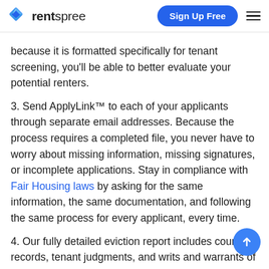rentspree | Sign Up Free
because it is formatted specifically for tenant screening, you'll be able to better evaluate your potential renters.
3. Send ApplyLink™ to each of your applicants through separate email addresses. Because the process requires a completed file, you never have to worry about missing information, missing signatures, or incomplete applications. Stay in compliance with Fair Housing laws by asking for the same information, the same documentation, and following the same process for every applicant, every time.
4. Our fully detailed eviction report includes court records, tenant judgments, and writs and warrants of eviction. Never worry about technical jargon or codes; these simple, easy-to-read